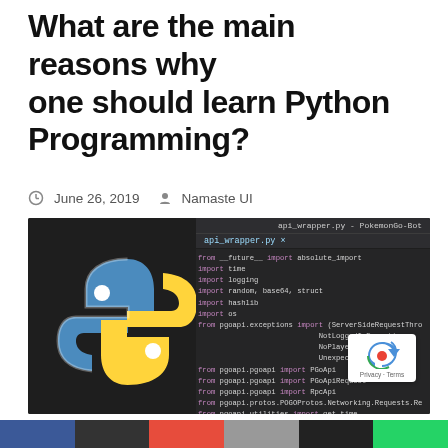What are the main reasons why one should learn Python Programming?
June 26, 2019  Namaste UI
[Figure (screenshot): Screenshot of a dark-themed code editor showing Python import statements and class definition, with the Python logo (blue and yellow snake) on the left side of the image.]
[Figure (other): Row of social media sharing buttons at the bottom in various colors (blue, dark, red, grey, black, green).]